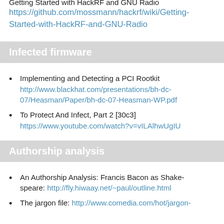Getting Started with HackRF and GNU Radio https://github.com/mossmann/hackrf/wiki/Getting-Started-with-HackRF-and-GNU-Radio
Infected firmware
Implementing and Detecting a PCI Rootkit http://www.blackhat.com/presentations/bh-dc-07/Heasman/Paper/bh-dc-07-Heasman-WP.pdf
To Protect And Infect, Part 2 [30c3] https://www.youtube.com/watch?v=vILAlhwUgIU
Authorship analysis
An Authorship Analysis: Francis Bacon as Shakespeare: http://fly.hiwaay.net/~paul/outline.html
The jargon file: http://www.comedia.com/hot/jargon-